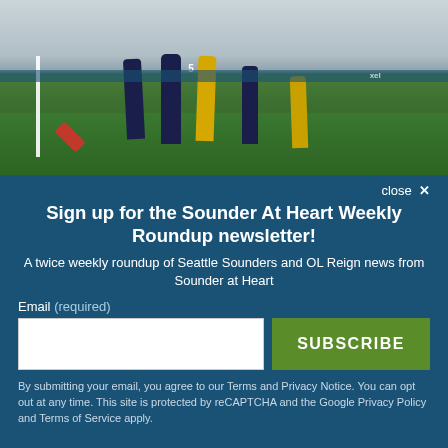[Figure (photo): Women's soccer match photo showing players in dark navy/red uniforms and yellow/green uniforms competing near the goal, with stadium stands visible in the background.]
close ✕
Sign up for the Sounder At Heart Weekly Roundup newsletter!
A twice weekly roundup of Seattle Sounders and OL Reign news from Sounder at Heart
Email (required)
SUBSCRIBE
By submitting your email, you agree to our Terms and Privacy Notice. You can opt out at any time. This site is protected by reCAPTCHA and the Google Privacy Policy and Terms of Service apply.